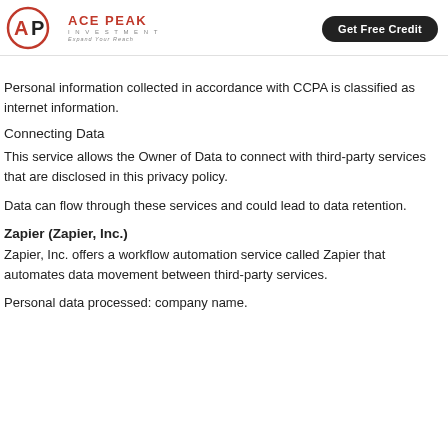ACE PEAK INVESTMENT — Get Free Credit
Personal information collected in accordance with CCPA is classified as internet information.
Connecting Data
This service allows the Owner of Data to connect with third-party services that are disclosed in this privacy policy.
Data can flow through these services and could lead to data retention.
Zapier (Zapier, Inc.)
Zapier, Inc. offers a workflow automation service called Zapier that automates data movement between third-party services.
Personal data processed: company name.